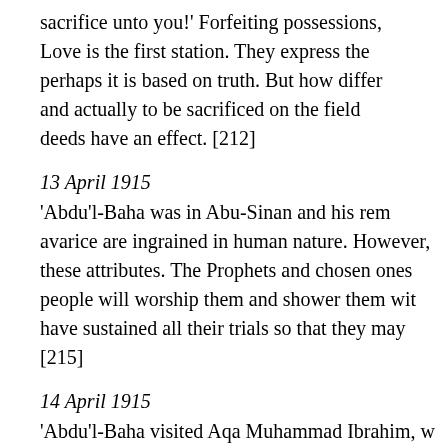sacrifice unto you!' Forfeiting possessions, Love is the first station. They express the perhaps it is based on truth. But how differ and actually to be sacrificed on the field deeds have an effect. [212]
13 April 1915
'Abdu'l-Baha was in Abu-Sinan and his rem avarice are ingrained in human nature. However, these attributes. The Prophets and chosen ones people will worship them and shower them wit have sustained all their trials so that they may [215]
14 April 1915
'Abdu'l-Baha visited Aqa Muhammad Ibrahim, w Because of his illness, he was not able to talk, b